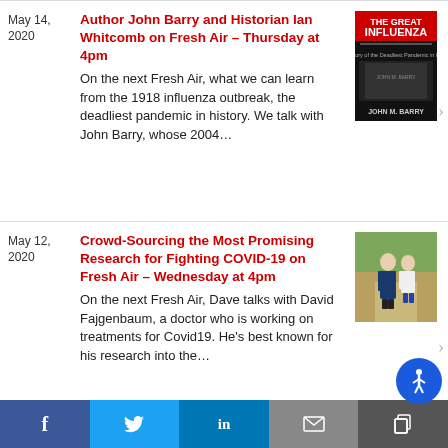May 14, 2020 | Author John Barry and Historian Ian Whitcomb on Fresh Air – Thursday at 4pm | On the next Fresh Air, what we can learn from the 1918 influenza outbreak, the deadliest pandemic in history. We talk with John Barry, whose 2004...
May 12, 2020 | Crowd-Sourcing the Most Promising Research for Fighting COVID-19 on Fresh Air – Wednesday at 4pm | On the next Fresh Air, Dave talks with David Fajgenbaum, a doctor who is working on treatments for Covid19. He's best known for his research into the...
f | t | in | [email] | [copy]